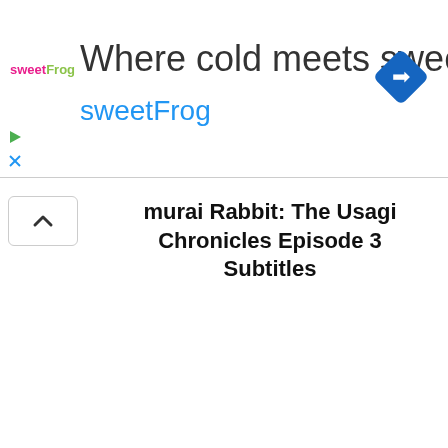[Figure (infographic): sweetFrog advertisement banner with logo, tagline 'Where cold meets sweet', brand name 'sweetFrog', a navigation/directions diamond icon, a small play triangle icon, and a close X icon]
murai Rabbit: The Usagi Chronicles Episode 3 Subtitles